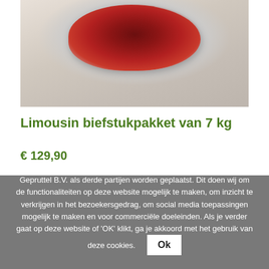[Figure (photo): Raw red meat (beef steak) on white crinkled butcher paper, viewed from above, product photography.]
Limousin biefstukpakket van 7 kg
€ 129,90
Op onze website wordt gebruik gemaakt van cookies die zowel door Gepruttel B.V. als derde partijen worden geplaatst. Dit doen wij om de functionaliteiten op deze website mogelijk te maken, om inzicht te verkrijgen in het bezoekersgedrag, om social media toepassingen mogelijk te maken en voor commerciële doeleinden. Als je verder gaat op deze website of 'OK' klikt, ga je akkoord met het gebruik van deze cookies.
Ok
Lees meer